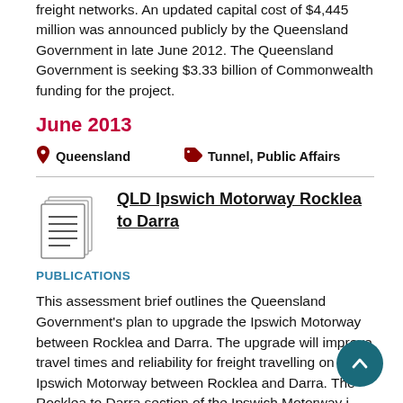freight networks. An updated capital cost of $4,445 million was announced publicly by the Queensland Government in late June 2012. The Queensland Government is seeking $3.33 billion of Commonwealth funding for the project.
June 2013
Queensland    Tunnel, Public Affairs
QLD Ipswich Motorway Rocklea to Darra
PUBLICATIONS
This assessment brief outlines the Queensland Government's plan to upgrade the Ipswich Motorway between Rocklea and Darra. The upgrade will improve travel times and reliability for freight travelling on the Ipswich Motorway between Rocklea and Darra. The Rocklea to Darra section of the Ipswich Motorway is the final stage of the six-stage upgrade of the Ipswich Motorway. This is the first time Infrastructure Australia has received a submission for the sixth stage, Rocklea to